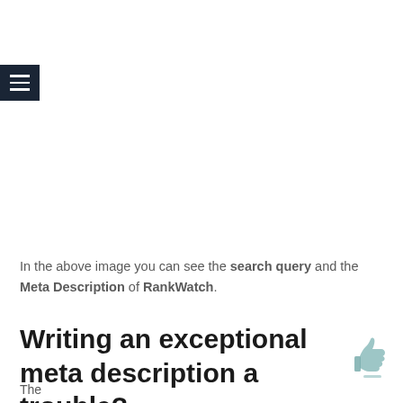[Figure (screenshot): Navigation menu icon (hamburger icon) — dark navy square with three white horizontal lines]
In the above image you can see the search query and the Meta Description of RankWatch.
Writing an exceptional meta description a trouble?
The ...